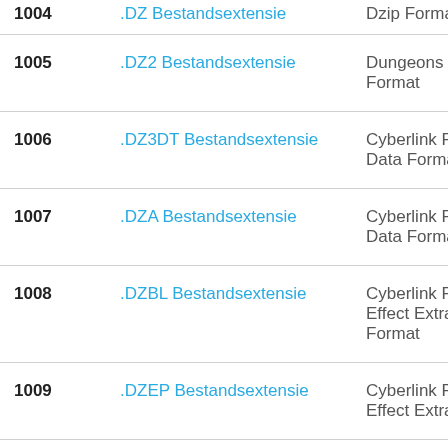| # | Name | Description |
| --- | --- | --- |
| 1004 | .DZ Bestandsextensie | Dzip Forma... |
| 1005 | .DZ2 Bestandsextensie | Dungeons 2 Format |
| 1006 | .DZ3DT Bestandsextensie | Cyberlink P... Data Forma... |
| 1007 | .DZA Bestandsextensie | Cyberlink P... Data Forma... |
| 1008 | .DZBL Bestandsextensie | Cyberlink P... Effect Extra... Format |
| 1009 | .DZEP Bestandsextensie | Cyberlink P... Effect Extra... |